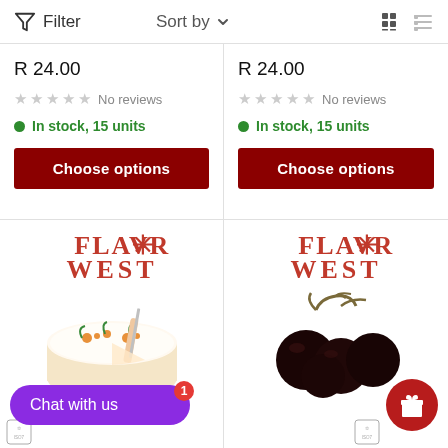Filter   Sort by   [grid view] [list view]
R 24.00
★★★★★ No reviews
In stock, 15 units
Choose options
R 24.00
★★★★★ No reviews
In stock, 15 units
Choose options
[Figure (logo): Flavor West logo - red serif text reading FLAVOR WEST with a snowflake/asterisk in place of the O]
[Figure (photo): A decorated carrot cake being cut, with orange and green frosting decorations on top]
Chat with us
[Figure (logo): Flavor West logo - red serif text reading FLAVOR WEST with a snowflake/asterisk in place of the O]
[Figure (photo): Dark cherries with stems on a white background]